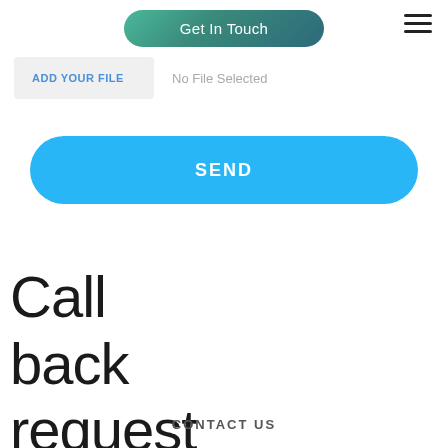Get In Touch
[Figure (other): Hamburger menu icon with three horizontal lines]
ADD YOUR FILE   No File Selected
SEND
Call back request
CONTACT US